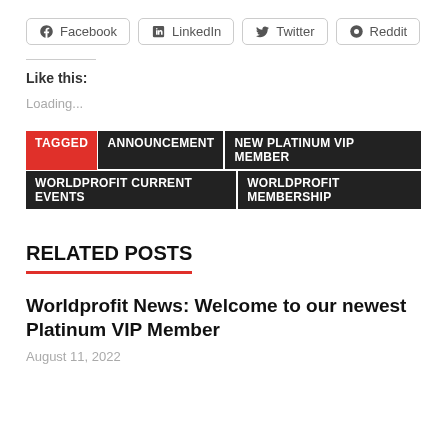[Figure (other): Social share buttons row: Facebook, LinkedIn, Twitter, Reddit]
Like this:
Loading...
TAGGED ANNOUNCEMENT NEW PLATINUM VIP MEMBER WORLDPROFIT CURRENT EVENTS WORLDPROFIT MEMBERSHIP
RELATED POSTS
Worldprofit News: Welcome to our newest Platinum VIP Member
August 11, 2022